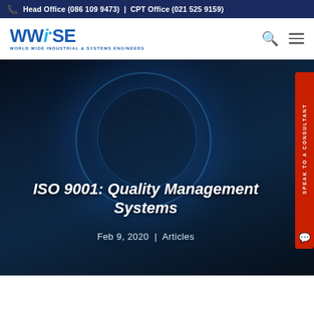Head Office (086 109 9473) | CPT Office (021 525 9159)
[Figure (logo): WWISE - World Wide Industrial & Systems Engineers logo in blue]
[Figure (photo): Dark hero image with a person holding a glowing digital sphere, featuring the article title and date overlaid]
ISO 9001: Quality Management Systems
Feb 9, 2020 | Articles